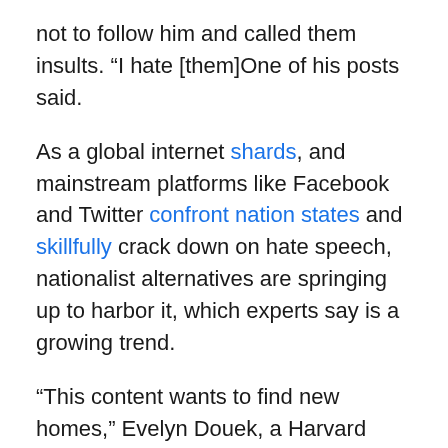not to follow him and called them insults. “I hate [them]One of his posts said.
As a global internet shards, and mainstream platforms like Facebook and Twitter confront nation states and skillfully crack down on hate speech, nationalist alternatives are springing up to harbor it, which experts say is a growing trend.
“This content wants to find new homes,” Evelyn Douek, a Harvard Law School lecturer who studies the global regulation of online speech, told BuzzFeed News. The hate speech, misinformation, harassment and incitement that traditional platforms have grappled with for years are especially problematic on platforms like Koo, she said, as these sites are less monitored. . “These issues cross all platforms in the end,” said Douek, “but with the proliferation of these alternatives there will likely be a lot less attention and pressure on them. It also creates the